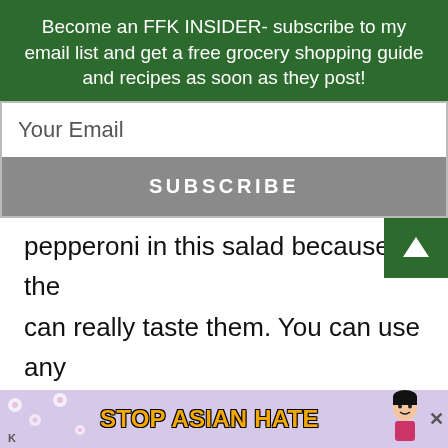Become an FFK INSIDER- subscribe to my email list and get a free grocery shopping guide and recipes as soon as they post!
Your Email
SUBSCRIBE
pepperoni in this salad because they can really taste them. You can use any shortcut pasta you wish. I like penne, spirals, or gemeli pasta. Shells would also work. The dressing is just my favorite store bought Italian dressing.
[Figure (infographic): Stop Asian Hate advertisement banner at the bottom of the page with flower decorations and a cartoon figure]
K... Ba...